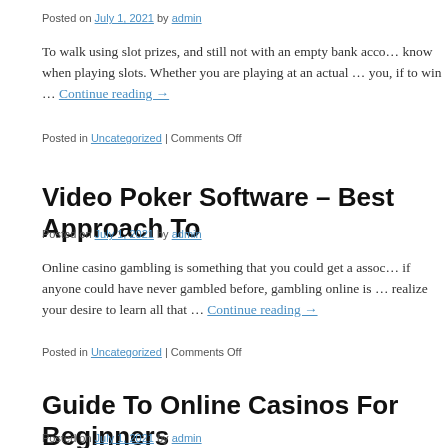Posted on July 1, 2021 by admin
To walk using slot prizes, and still not with an empty bank acco… know when playing slots. Whether you are playing at an actual … you, if to win … Continue reading →
Posted in Uncategorized | Comments Off
Video Poker Software – Best Approach To
Posted on July 1, 2021 by admin
Online casino gambling is something that you could get a assoc… if anyone could have never gambled before, gambling online is … realize your desire to learn all that … Continue reading →
Posted in Uncategorized | Comments Off
Guide To Online Casinos For Beginners
Posted on July 1, 2021 by admin